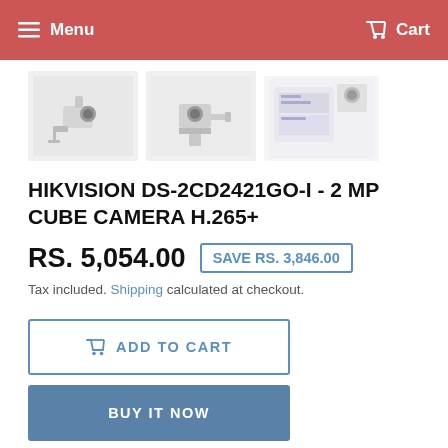Menu  Cart
[Figure (photo): Three product thumbnail images of a Hikvision cube camera from different angles]
HIKVISION DS-2CD2421GO-I - 2 MP CUBE CAMERA H.265+
RS. 5,054.00  SAVE RS. 3,846.00
Tax included. Shipping calculated at checkout.
ADD TO CART
BUY IT NOW